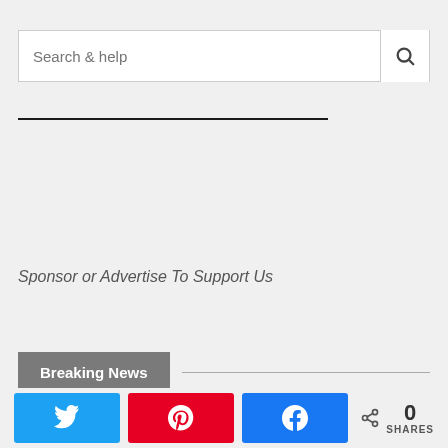Search & help
Sponsor or Advertise To Support Us
Breaking News
0 SHARES